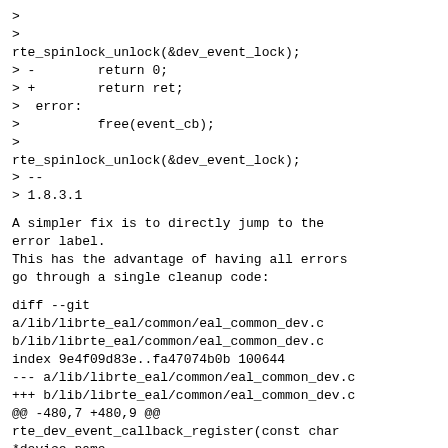>
>
rte_spinlock_unlock(&dev_event_lock);
> -        return 0;
> +        return ret;
>  error:
>          free(event_cb);
>
rte_spinlock_unlock(&dev_event_lock);
> --
> 1.8.3.1
A simpler fix is to directly jump to the error label.
This has the advantage of having all errors go through a single cleanup code:
diff --git
a/lib/librte_eal/common/eal_common_dev.c
b/lib/librte_eal/common/eal_common_dev.c
index 9e4f09d83e..fa47074b0b 100644
--- a/lib/librte_eal/common/eal_common_dev.c
+++ b/lib/librte_eal/common/eal_common_dev.c
@@ -480,7 +480,9 @@
rte_dev_event_callback_register(const char *device_name,
                RTE_LOG(ERR, EAL,
                        "The callback is already exist, no need "
                        "to register